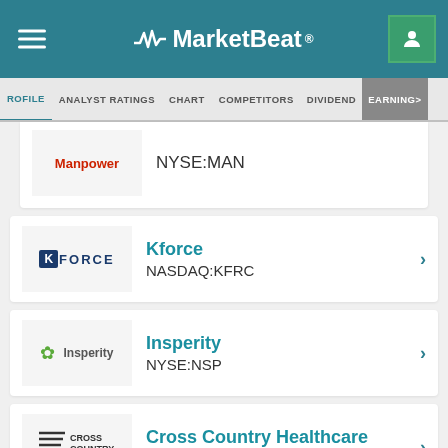[Figure (screenshot): MarketBeat website header with logo, hamburger menu, and user icon]
PROFILE | ANALYST RATINGS | CHART | COMPETITORS | DIVIDEND | EARNINGS >
NYSE:MAN
Kforce NASDAQ:KFRC
Insperity NYSE:NSP
Cross Country Healthcare NASDAQ:CCRN